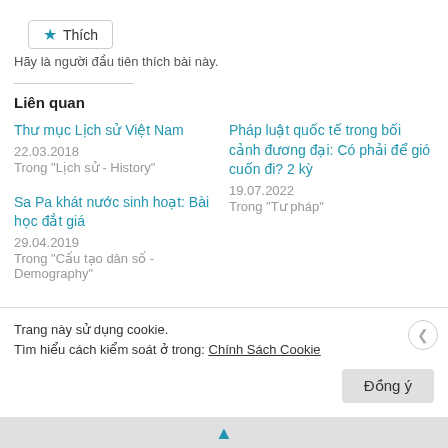★ Thích
Hãy là người đầu tiên thích bài này.
Liên quan
Thư mục Lịch sử Việt Nam
22.03.2018
Trong "Lịch sử - History"
Pháp luật quốc tế trong bối cảnh đương đại: Có phải để gió cuốn đi? 2 kỳ
19.07.2022
Trong "Tư pháp"
Sa Pa khát nước sinh hoạt: Bài học đắt giá
29.04.2019
Trong "Cấu tạo dân số - Demography"
Trang này sử dụng cookie.
Tìm hiểu cách kiểm soát ở trong: Chính Sách Cookie
Đồng ý